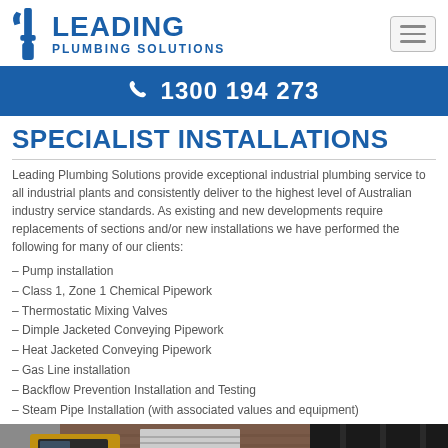Leading Plumbing Solutions — logo and navigation header
1300 194 273
SPECIALIST INSTALLATIONS
Leading Plumbing Solutions provide exceptional industrial plumbing service to all industrial plants and consistently deliver to the highest level of Australian industry service standards. As existing and new developments require replacements of sections and/or new installations we have performed the following for many of our clients:
– Pump installation
– Class 1, Zone 1 Chemical Pipework
– Thermostatic Mixing Valves
– Dimple Jacketed Conveying Pipework
– Heat Jacketed Conveying Pipework
– Gas Line installation
– Backflow Prevention Installation and Testing
– Steam Pipe Installation (with associated values and equipment)
[Figure (photo): Construction/industrial site photo showing a yellow excavator or heavy equipment vehicle parked near a brick building with roller doors and dark sheeting/fencing in the foreground.]